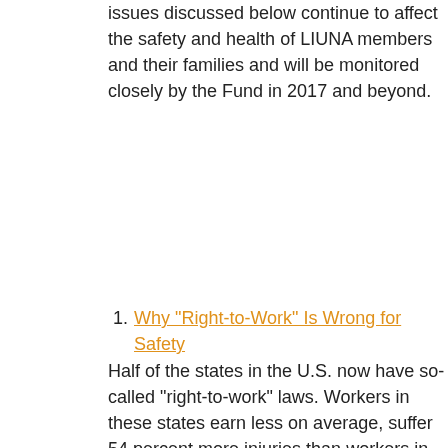issues discussed below continue to affect the safety and health of LIUNA members and their families and will be monitored closely by the Fund in 2017 and beyond.
1. Why "Right-to-Work" Is Wrong for Safety
Half of the states in the U.S. now have so-called "right-to-work" laws. Workers in these states earn less on average, suffer 54 percent more injuries than workers in right-to-prosper states and tend to have poorer overall health. Right-to-work isn't just about wages –